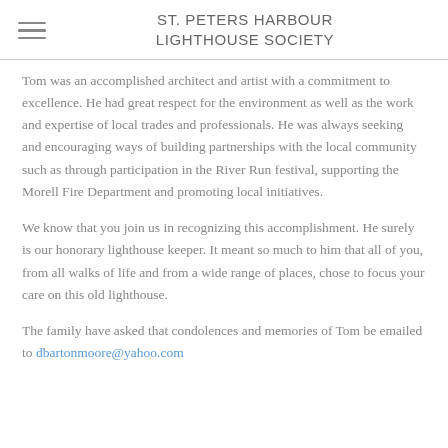ST. PETERS HARBOUR LIGHTHOUSE SOCIETY
Tom was an accomplished architect and artist with a commitment to excellence. He had great respect for the environment as well as the work and expertise of local trades and professionals. He was always seeking and encouraging ways of building partnerships with the local community such as through participation in the River Run festival, supporting the Morell Fire Department and promoting local initiatives.
We know that you join us in recognizing this accomplishment. He surely is our honorary lighthouse keeper. It meant so much to him that all of you, from all walks of life and from a wide range of places, chose to focus your care on this old lighthouse.
The family have asked that condolences and memories of Tom be emailed to dbartonmoore@yahoo.com